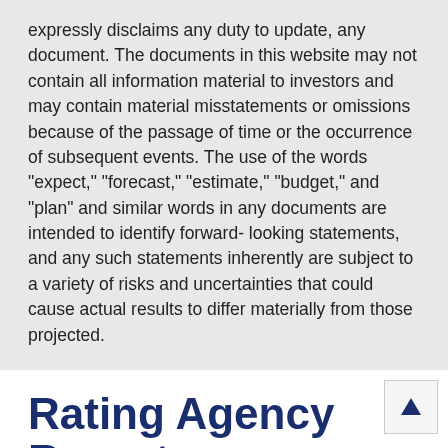expressly disclaims any duty to update, any document. The documents in this website may not contain all information material to investors and may contain material misstatements or omissions because of the passage of time or the occurrence of subsequent events. The use of the words “expect,” “forecast,” “estimate,” “budget,” and “plan” and similar words in any documents are intended to identify forward-looking statements, and any such statements inherently are subject to a variety of risks and uncertainties that could cause actual results to differ materially from those projected.
Rating Agency Reports
Priest Rapids Hydroelectric